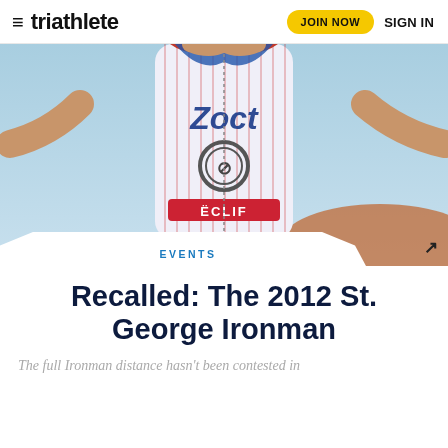≡ triathlete  JOIN NOW  SIGN IN
[Figure (photo): Triathlete raising arms in victory wearing a white/red/blue pinstripe triathlon suit with ZOOT and CLIF logos, blue sky background]
EVENTS
Recalled: The 2012 St. George Ironman
The full Ironman distance hasn't been contested in